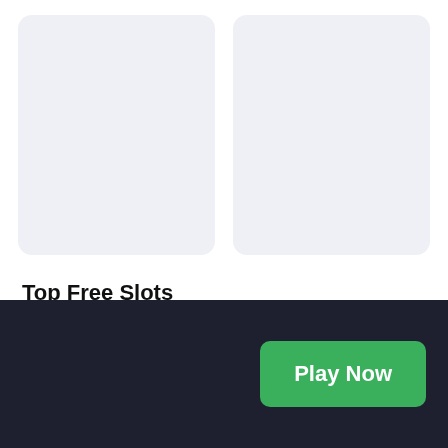[Figure (illustration): Two blank light-blue/grey rounded rectangle placeholder cards side by side]
Top Free Slots
Double Bubble
Fishin' Frenzy
[Figure (screenshot): Cluedo Mighty Ways game thumbnail showing dark winter night scene with mansion, CLUEDO logo in bold italic with red C, MIGHTY WAYS text in icy blue below]
Play Now